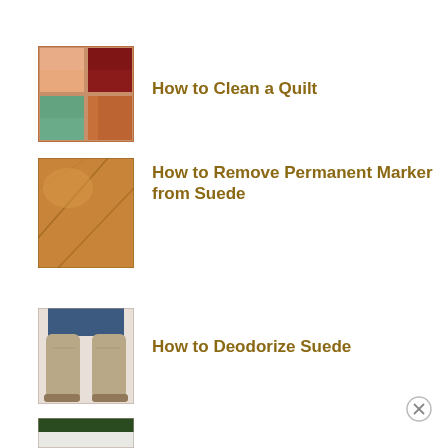[Figure (photo): Colorful patchwork quilt squares in red, maroon, orange, teal, purple]
How to Clean a Quilt
[Figure (photo): Close-up of tan/brown suede leather with seam lines]
How to Remove Permanent Marker from Suede
[Figure (photo): Person wearing gray/beige suede boots, view from above]
How to Deodorize Suede
[Figure (photo): Partially visible image at bottom, cut off]